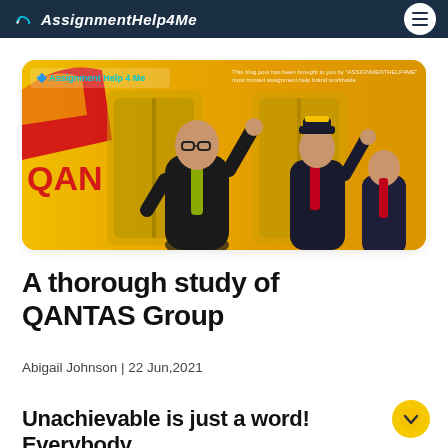AssignmentHelp4Me
[Figure (photo): Qantas airline staff waving at an aircraft door, with yellow Qantas branding visible. Overlay text: Assignment Help 4 Me logo top left, and 'This blog post has been brought to you by ASSIGNMENTHELP4ME most trusted assignment help brand worldwide' top right.]
A thorough study of QANTAS Group
Abigail Johnson | 22 Jun,2021
Unachievable is just a word! Everybody